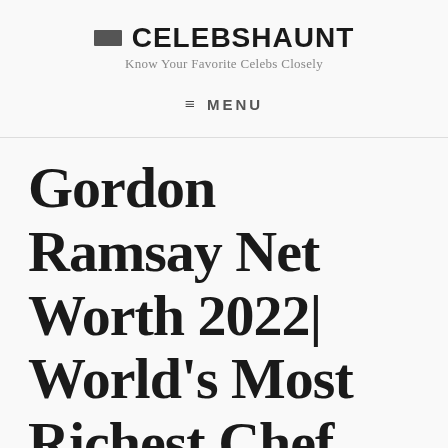CELEBSHAUNT
Know Your Favorite Celebs Closely
≡ MENU
Gordon Ramsay Net Worth 2022| World's Most Richest Chef
Last updated May 6, 2022